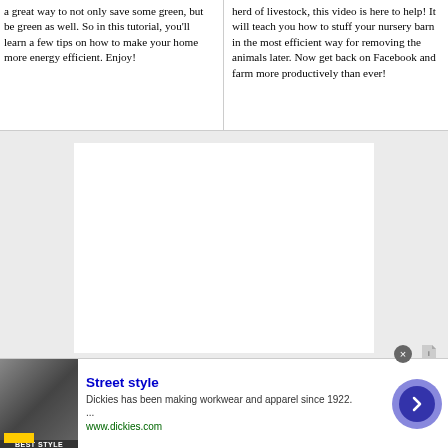a great way to not only save some green, but be green as well. So in this tutorial, you'll learn a few tips on how to make your home more energy efficient. Enjoy!
herd of livestock, this video is here to help! It will teach you how to stuff your nursery barn in the most efficient way for removing the animals later. Now get back on Facebook and farm more productively than ever!
[Figure (other): White rectangle placeholder for embedded video content on a light gray background]
[Figure (photo): Advertisement banner: Street style - Dickies workwear. Shows a person in street style clothing. Text: Street style, Dickies has been making workwear and apparel since 1922. ..., www.dickies.com. Arrow button on right side.]